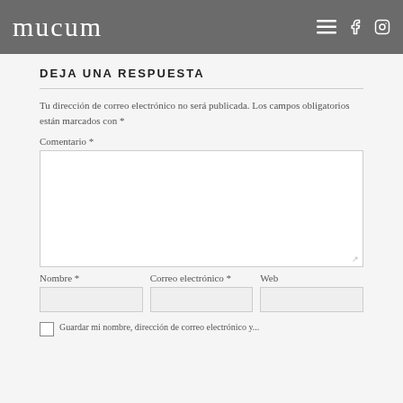mucum
DEJA UNA RESPUESTA
Tu dirección de correo electrónico no será publicada. Los campos obligatorios están marcados con *
Comentario *
Nombre * | Correo electrónico * | Web
Guardar mi nombre, dirección de correo electrónico y...